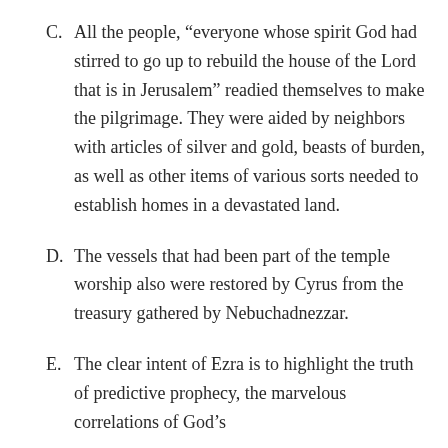C. All the people, “everyone whose spirit God had stirred to go up to rebuild the house of the Lord that is in Jerusalem” readied themselves to make the pilgrimage. They were aided by neighbors with articles of silver and gold, beasts of burden, as well as other items of various sorts needed to establish homes in a devastated land.
D. The vessels that had been part of the temple worship also were restored by Cyrus from the treasury gathered by Nebuchadnezzar.
E. The clear intent of Ezra is to highlight the truth of predictive prophecy, the marvelous correlations of God’s